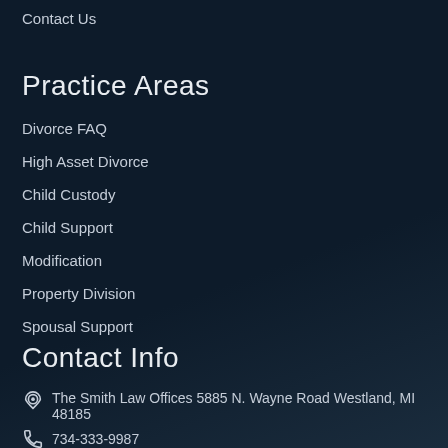Contact Us
Practice Areas
Divorce FAQ
High Asset Divorce
Child Custody
Child Support
Modification
Property Division
Spousal Support
Contact Info
The Smith Law Offices 5885 N. Wayne Road Westland, MI 48185
734-333-9987